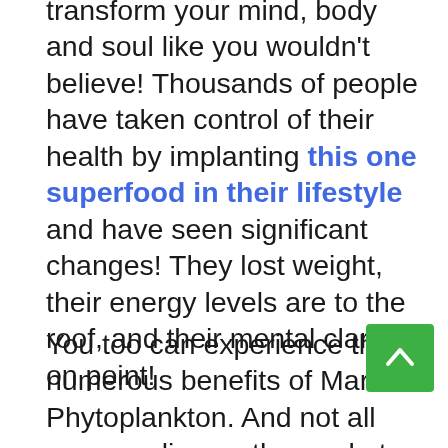transform your mind, body and soul like you wouldn't believe! Thousands of people have taken control of their health by implanting this one superfood in their lifestyle and have seen significant changes! They lost weight, their energy levels are to the roof, and their mental clarity is on point!
You too can experience the numerous benefits of Marine Phytoplankton. And not all oceans alive on the market are manufactured the same way, so it's important you buy from a reputable source like Activation. I have an exclusive promo code just for you so you can save 10% off your entire order. Just use code 'SPECIAL10' at checkout. Activation Products makes the industry's best health products to activate your entire health and well-being. They have an amazing magnesium spray product called EASE which is basically like an 'insta- pain' reliever and a natural relaxer for your mind, body and soul while on this we suggest Checkout their